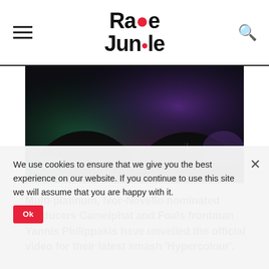Rave Jungle
[Figure (photo): Two people photographed from neck/shoulders up against dark purple-green lighting background, faces cropped out. One figure on left with green-lit shoulder, one on right wearing a necklace.]
Multi-platinum, Ivor-Novello nominated producers Camelphat and Foals frontman Yannis Philippakis have unveiled the official video for their latest smash 'Hypercolour'.
Directed by Max Vatble, the video is shot in timelapse and follows a hyper-saturated journey through the colours and feelings of summer with hazy shots of psychedelic tinged lights and a range of hypnotic cutaways. The single has already garnered almost 6 million streams and has received
We use cookies to ensure that we give you the best experience on our website. If you continue to use this site we will assume that you are happy with it.